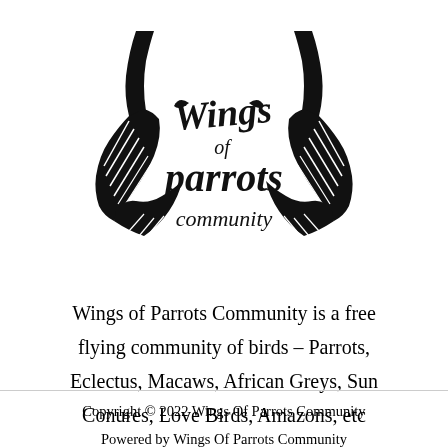[Figure (logo): Wings of Parrots Community logo: stylized wings with feather details on either side, with ornate script text reading 'Wings of parrots community' in the center.]
Wings of Parrots Community is a free flying community of birds – Parrots, Eclectus, Macaws, African Greys, Sun Conures, Love Birds, Amazons, etc
Copyright © 2022 Wings Of Parrots Community
Powered by Wings Of Parrots Community